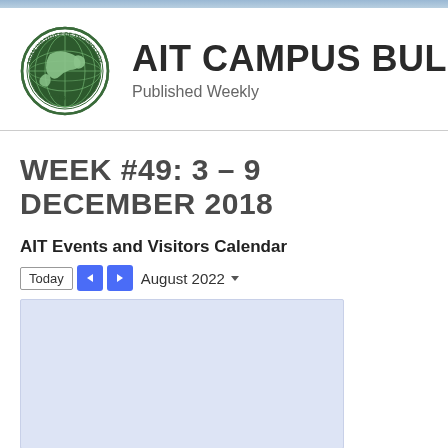[Figure (logo): Asian Institute of Technology circular seal/logo with globe and text '1959']
AIT CAMPUS BULLETIN
Published Weekly
WEEK #49: 3 – 9 DECEMBER 2018
AIT Events and Visitors Calendar
Today  ◀  ▶  August 2022  ▾
[Figure (screenshot): Embedded Google Calendar view showing August 2022, light blue/lavender background]